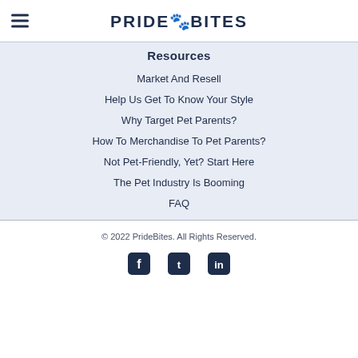PRIDE BITES (logo with hamburger menu)
Resources
Market And Resell
Help Us Get To Know Your Style
Why Target Pet Parents?
How To Merchandise To Pet Parents?
Not Pet-Friendly, Yet? Start Here
The Pet Industry Is Booming
FAQ
© 2022 PrideBites. All Rights Reserved.
[Figure (illustration): Social media icons: Facebook, Twitter, LinkedIn]